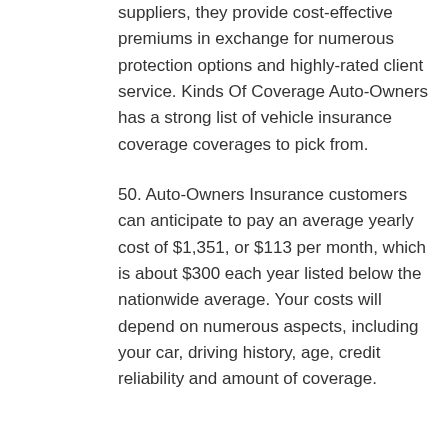suppliers, they provide cost-effective premiums in exchange for numerous protection options and highly-rated client service. Kinds Of Coverage Auto-Owners has a strong list of vehicle insurance coverage coverages to pick from.
50. Auto-Owners Insurance customers can anticipate to pay an average yearly cost of $1,351, or $113 per month, which is about $300 each year listed below the nationwide average. Your costs will depend on numerous aspects, including your car, driving history, age, credit reliability and amount of coverage.